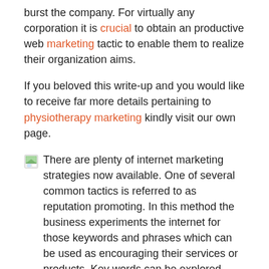burst the company. For virtually any corporation it is crucial to obtain an productive web marketing tactic to enable them to realize their organization aims.
If you beloved this write-up and you would like to receive far more details pertaining to physiotherapy marketing kindly visit our own page.
There are plenty of internet marketing strategies now available. One of several common tactics is referred to as reputation promoting. In this method the business experiments the internet for those keywords and phrases which can be used as encouraging their services or products. Key words can be explored through the opponents, that will enable the company to get a competitive edge more than their competitors. The other one alternative is to look for the appropriate key phrases which can